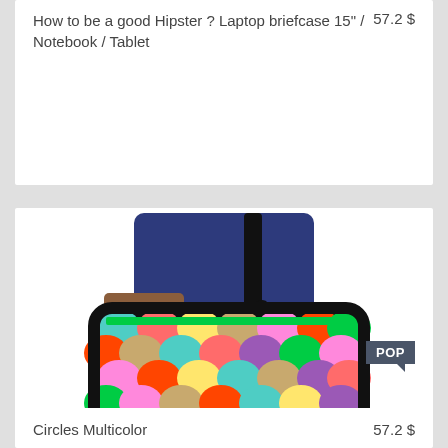How to be a good Hipster ? Laptop briefcase 15" / Notebook / Tablet    57.2 $
[Figure (photo): Person carrying a colorful laptop briefcase with multicolor circles/scales pattern and a POP badge label]
Circles Multicolor    57.2 $